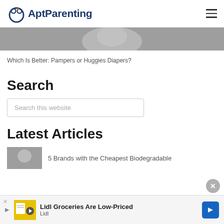AptParenting
[Figure (photo): Black and white close-up photo of a baby]
Which Is Better: Pampers or Huggies Diapers?
Search
Search this website
Latest Articles
5 Brands with the Cheapest Biodegradable
Lidl Groceries Are Low-Priced